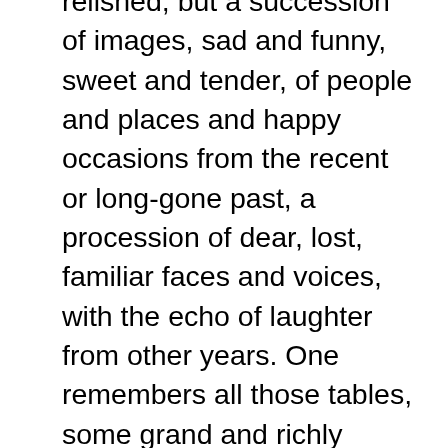relished, but a succession of images, sad and funny, sweet and tender, of people and places and happy occasions from the recent or long-gone past, a procession of dear, lost, familiar faces and voices, with the echo of laughter from other years. One remembers all those tables, some grand and richly laden, some humble and bearing simple fare, over which have flowed the talk, the tales, the exchanges that have made up the histories of our lives; the tables across which loving eyes have looked into loving eyes, and across which we have reached, friend to friend and spirit to spirit, to touch each other in precious communion. I think of vanishes loved ones and of absent friends and simpler times, of youth and joy and wonder, of those early seasons of first discoveries, the seasons in which we were blessed with Heaven's gift for finding all the world's delight in one bright Easter egg, all the world's affection in one home-decorated birthday cake with our own particular name written bright upon it.